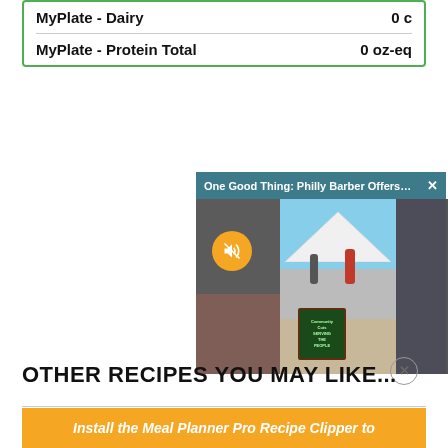| MyPlate - Dairy | 0 c |
| MyPlate - Protein Total | 0 oz-eq |
[Figure (screenshot): Embedded video player showing 'One Good Thing: Philly Barber Offers Fr...' with a teal/blue title bar, close button (X), mute button (orange circle with muted speaker icon), and video thumbnails of people near a white tent outdoors with a chalkboard sign reading 'Community Cuts Serving the People']
OTHER RECIPES YOU MAY LIKE...
[Figure (screenshot): Orange button: Install the Meal Planner Pro Recipe Clipper to...]